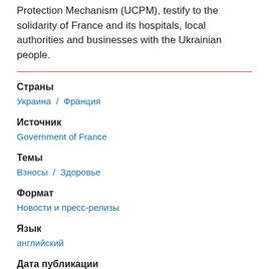Protection Mechanism (UCPM), testify to the solidarity of France and its hospitals, local authorities and businesses with the Ukrainian people.
Страны
Украина  /  Франция
Источник
Government of France
Темы
Взносы  /  Здоровье
Формат
Новости и пресс-релизы
Язык
английский
Дата публикации